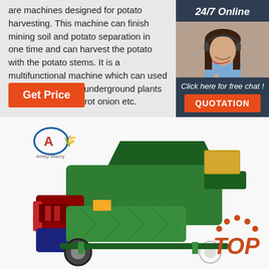are machines designed for potato harvesting. This machine can finish mining soil and potato separation in one time and can harvest the potato with the potato stems. It is a multifunctional machine which can used for variety kinds of underground plants such as peanut carrot onion etc.
Get Price
24/7 Online
[Figure (photo): Customer service representative with headset, smiling]
Click here for free chat !
QUOTATION
[Figure (photo): Green potato harvesting machine with red engine, brand logo visible, and a TOP badge in the corner]